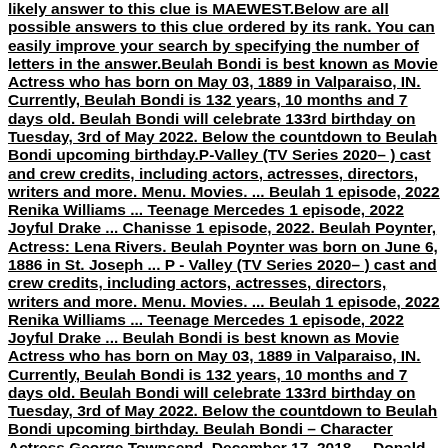likely answer to this clue is MAEWEST.Below are all possible answers to this clue ordered by its rank. You can easily improve your search by specifying the number of letters in the answer.Beulah Bondi is best known as Movie Actress who has born on May 03, 1889 in Valparaiso, IN. Currently, Beulah Bondi is 132 years, 10 months and 7 days old. Beulah Bondi will celebrate 133rd birthday on Tuesday, 3rd of May 2022. Below the countdown to Beulah Bondi upcoming birthday.P-Valley (TV Series 2020– ) cast and crew credits, including actors, actresses, directors, writers and more. Menu. Movies. ... Beulah 1 episode, 2022 Renika Williams ... Teenage Mercedes 1 episode, 2022 Joyful Drake ... Chanisse 1 episode, 2022. Beulah Poynter, Actress: Lena Rivers. Beulah Poynter was born on June 6, 1886 in St. Joseph ... P - Valley (TV Series 2020– ) cast and crew credits, including actors, actresses, directors, writers and more. Menu. Movies. ... Beulah 1 episode, 2022 Renika Williams ... Teenage Mercedes 1 episode, 2022 Joyful Drake ... Beulah Bondi is best known as Movie Actress who has born on May 03, 1889 in Valparaiso, IN. Currently, Beulah Bondi is 132 years, 10 months and 7 days old. Beulah Bondi will celebrate 133rd birthday on Tuesday, 3rd of May 2022. Below the countdown to Beulah Bondi upcoming birthday. Beulah Bondi – Character Actress.George Townsend. December 17, 2018 ... Donald Crisp who seemed to be everywhere and whose performance in How Green Was My Valley is amazing, Claire